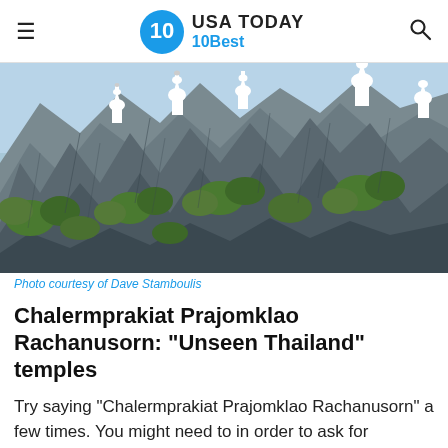USA TODAY 10Best
[Figure (photo): Rocky limestone mountain peaks with white Buddhist temple stupas/chedis visible at the top, surrounded by green tropical trees and foliage against a blue sky. The jagged grey karst rock formations dominate the image.]
Photo courtesy of Dave Stamboulis
Chalermprakiat Prajomklao Rachanusorn: "Unseen Thailand" temples
Try saying "Chalermprakiat Prajomklao Rachanusorn" a few times. You might need to in order to ask for directions, as this remains one of Thailand's most hidden sights. It was selected by Thai Tourism for the